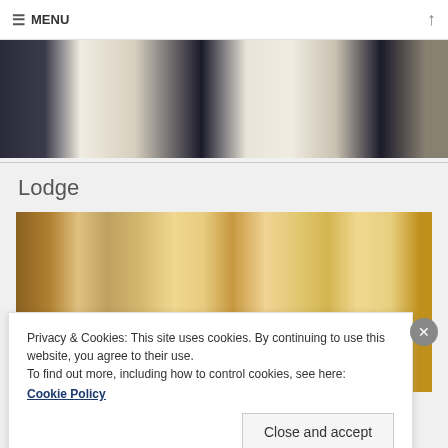≡ MENU
[Figure (photo): Cropped photo showing two people in formal black and white attire (tuxedos), torsos visible against a dark background]
Lodge
[Figure (photo): Photo of people in formal or ceremonial dress inside an ornate room with gold decorations, portraits on walls]
Privacy & Cookies: This site uses cookies. By continuing to use this website, you agree to their use.
To find out more, including how to control cookies, see here:
Cookie Policy
Close and accept